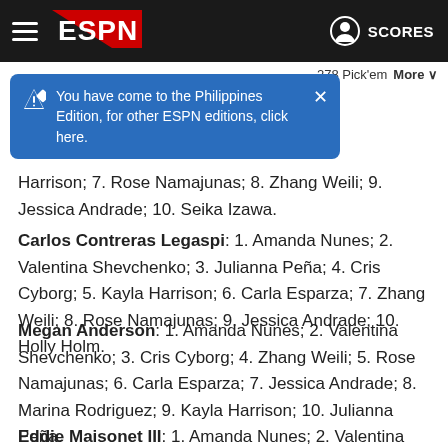ESPN header with hamburger menu, ESPN logo, user icon, SCORES
[Figure (screenshot): ESPN logo SVG in header]
You have come to the Philippines Edition, for other ESPN editions, click here.
Harrison; 7. Rose Namajunas; 8. Zhang Weili; 9. Jessica Andrade; 10. Seika Izawa.
Carlos Contreras Legaspi: 1. Amanda Nunes; 2. Valentina Shevchenko; 3. Julianna Peña; 4. Cris Cyborg; 5. Kayla Harrison; 6. Carla Esparza; 7. Zhang Weili; 8. Rose Namajunas; 9. Jessica Andrade; 10. Holly Holm.
Megan Anderson: 1. Amanda Nunes; 2. Valentina Shevchenko; 3. Cris Cyborg; 4. Zhang Weili; 5. Rose Namajunas; 6. Carla Esparza; 7. Jessica Andrade; 8. Marina Rodriguez; 9. Kayla Harrison; 10. Julianna Peña.
Eddie Maisonet III: 1. Amanda Nunes; 2. Valentina Shevchenko; 3. Julianna Peña; 4. Zhang Weili; 5. Cris Cyborg...